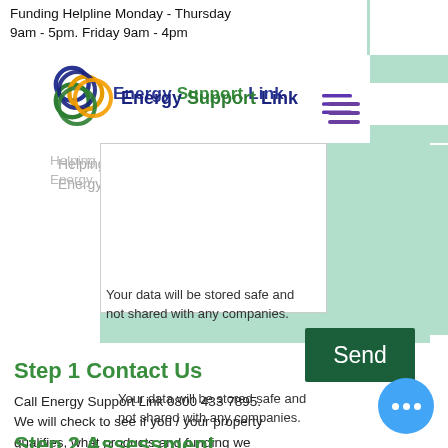Funding Helpline Monday - Thursday 9am - 5pm. Friday 9am - 4pm
[Figure (logo): Energy Support Link logo — overlapping blue, green, and gold circles with company name]
Helping UK Properties Save Energy
Send
Your data will be stored safe and not shared with any companies.
Step 1 Contact Us
Call Energy Support Link 0800 433 7895. We will check to see if you / your property qualifies, what products and funding we can allocate to you. Within seconds of phoning we will be able to connect you through to a Domestic Energy Advise
Step 2 Assessment